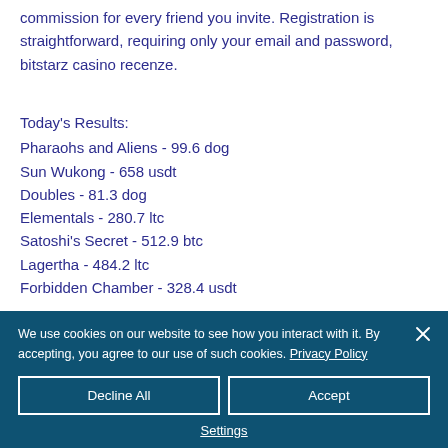commission for every friend you invite. Registration is straightforward, requiring only your email and password, bitstarz casino recenze.
Today's Results:
Pharaohs and Aliens - 99.6 dog
Sun Wukong - 658 usdt
Doubles - 81.3 dog
Elementals - 280.7 ltc
Satoshi's Secret - 512.9 btc
Lagertha - 484.2 ltc
Forbidden Chamber - 328.4 usdt
We use cookies on our website to see how you interact with it. By accepting, you agree to our use of such cookies. Privacy Policy